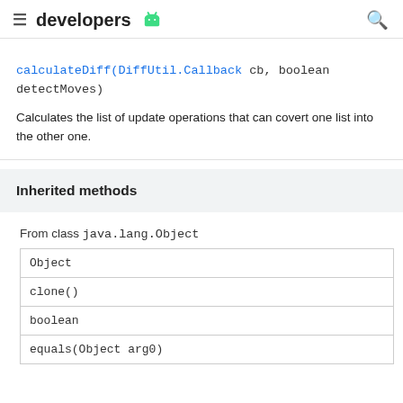developers
calculateDiff(DiffUtil.Callback cb, boolean detectMoves)
Calculates the list of update operations that can covert one list into the other one.
Inherited methods
From class java.lang.Object
| Object |
| clone() |
| boolean |
| equals(Object arg0) |